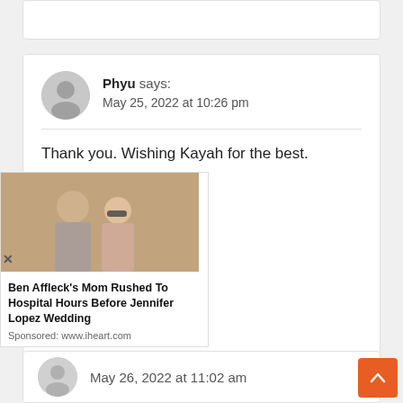(partial top comment card)
Phyu says:
May 25, 2022 at 10:26 pm
Thank you. Wishing Kayah for the best.
Loading...
Reply
[Figure (photo): Ad: Photo of Ben Affleck and Jennifer Lopez together]
Ben Affleck's Mom Rushed To Hospital Hours Before Jennifer Lopez Wedding
Sponsored: www.iheart.com
May 26, 2022 at 11:02 am